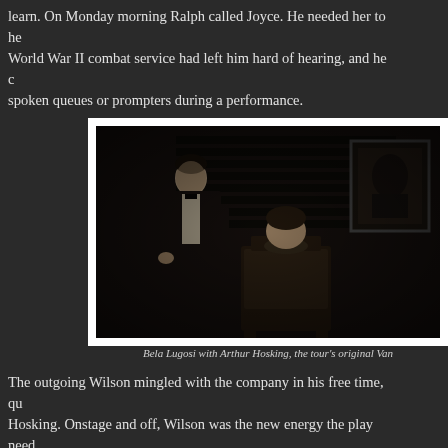learn. On Monday morning Ralph called Joyce. He needed her to help him. World War II combat service had left him hard of hearing, and he could not hear spoken queues or prompters during a performance.
[Figure (photo): Black and white photograph of Bela Lugosi with Arthur Hosking on stage, showing a man in formal attire standing near ornate furniture in a dark room setting with bookshelves and a framed picture on the wall.]
Bela Lugosi with Arthur Hosking, the tour's original Van
The outgoing Wilson mingled with the company in his free time, qu... Hosking. Onstage and off, Wilson was the new energy the play need... he had an immediate rapport with the reserved Sheila, daughter of... of art and culture. Wilson took to the aloof David Dawson. Except f...